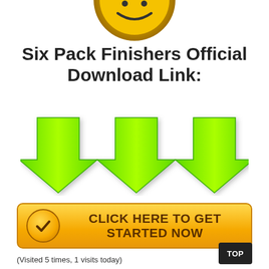[Figure (illustration): Bottom portion of a gold seal/badge with jagged edges, partially cropped at the top of the page]
Six Pack Finishers Official Download Link:
[Figure (illustration): Three bright green downward-pointing arrows arranged side by side with drop shadows]
[Figure (illustration): Yellow/gold call-to-action button with a checkmark circle icon on the left and text CLICK HERE TO GET STARTED NOW]
(Visited 5 times, 1 visits today)
TOP